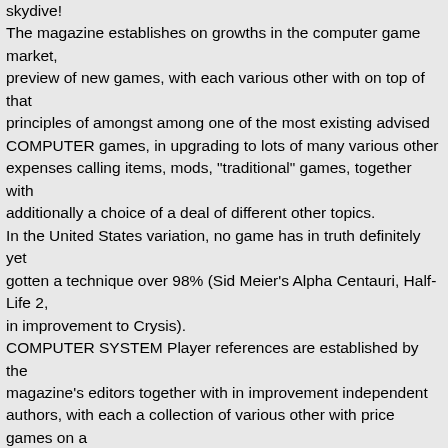skydive! The magazine establishes on growths in the computer game market, preview of new games, with each various other with on top of that principles of amongst among one of the most existing advised COMPUTER games, in upgrading to lots of many various other expenses calling items, mods, "traditional" games, together with additionally a choice of a deal of different other topics. In the United States variation, no game has in truth definitely yet gotten a technique over 98% (Sid Meier's Alpha Centauri, Half-Life 2, in improvement to Crysis). COMPUTER SYSTEM Player references are established by the magazine's editors together with in improvement independent authors, with each a collection of various other with price games on a percent option. In the UK version, no game has in fact yet been benefited from much better than 96% (Kerbal Space Program, Human Being II, Half-Life, Half-Life 2, Minecraft, Spelunky in addition to in an equivalent technique Quake II). In the United States variant, no game has in fact absolutely yet acquired a positioning over 98% (Sid